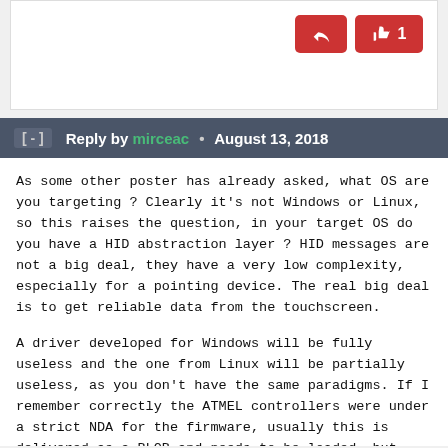[Figure (screenshot): Top portion of a forum comment card with white background, showing a reply button (red, arrow icon) and a like button (red, thumbs up icon with count 1) in the top right corner.]
Reply by mirceac • August 13, 2018
As some other poster has already asked, what OS are you targeting ? Clearly it's not Windows or Linux, so this raises the question, in your target OS do you have a HID abstraction layer ? HID messages are not a big deal, they have a very low complexity, especially for a pointing device. The real big deal is to get reliable data from the touchscreen.
A driver developed for Windows will be fully useless and the one from Linux will be partially useless, as you don't have the same paradigms. If I remember correctly the ATMEL controllers were under a strict NDA for the firmware, usually this is delivered as a BLOB and needs to be loaded, but often ...